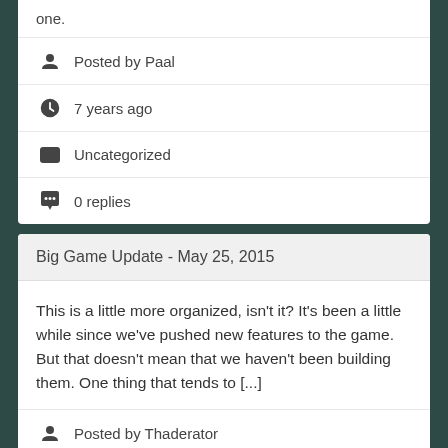one.
Posted by Paal
7 years ago
Uncategorized
0 replies
Big Game Update - May 25, 2015
This is a little more organized, isn't it? It's been a little while since we've pushed new features to the game. But that doesn't mean that we haven't been building them. One thing that tends to [...]
Posted by Thaderator